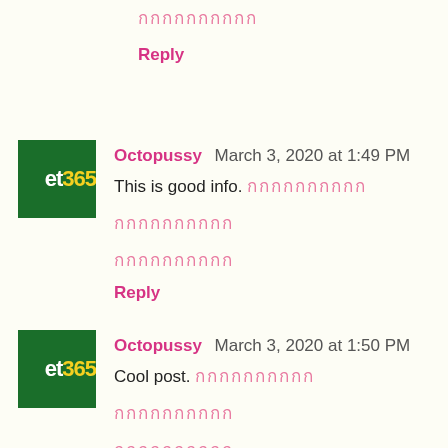กกกกกกกกกก (redacted Thai text)
Reply
Octopussy  March 3, 2020 at 1:49 PM
This is good info. กกกกกกกกกก
กกกกกกกกกก
กกกกกกกกกก
Reply
Octopussy  March 3, 2020 at 1:50 PM
Cool post. กกกกกกกกกก
กกกกกกกกกก
กกกกกกกกกก
Reply